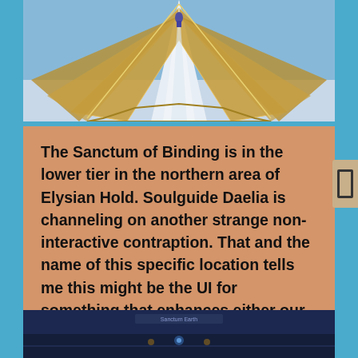[Figure (screenshot): Top portion of a World of Warcraft in-game screenshot showing an ornate stepped pyramid/sanctum structure with golden petal-like architectural elements and a light-colored central pathway, viewed from above. A small character is visible at the top of the pathway. The background is light blue (sky/ground).]
The Sanctum of Binding is in the lower tier in the northern area of Elysian Hold. Soulguide Daelia is channeling on another strange non-interactive contraption. That and the name of this specific location tells me this might be the UI for something that enhances either our gear or our character — in a similar fashion as Artifacts (Legion) or the Heart of Azeroth (Battle for Azeroth). We'll have to wait for a future build to find out.
[Figure (screenshot): Bottom portion of another World of Warcraft in-game screenshot, partially visible, showing a dark dungeon/indoor environment with interface elements visible.]